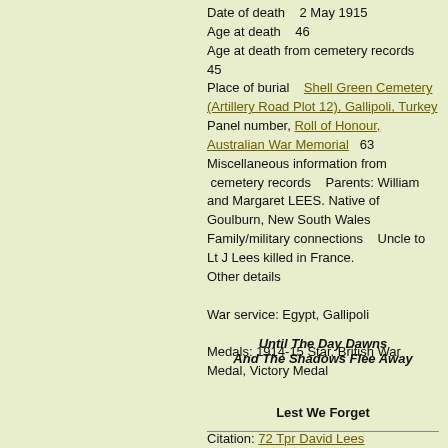Date of death    2 May 1915
Age at death    46
Age at death from cemetery records    45
Place of burial    Shell Green Cemetery (Artillery Road Plot 12), Gallipoli, Turkey
Panel number, Roll of Honour, Australian War Memorial    63
Miscellaneous information from  cemetery records    Parents: William and Margaret LEES. Native of Goulburn, New South Wales
Family/military connections    Uncle to Lt J Lees killed in France.
Other details

War service: Egypt, Gallipoli

Medals: 1914-15 Star, British War Medal, Victory Medal
Until The Day Dawns
And The Shadows Flee Away
Lest We Forget
Citation: 72 Tpr David Lees